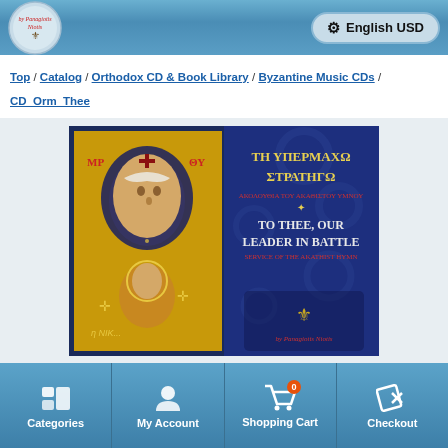by Panagiotis Niotis — English USD
Top / Catalog / Orthodox CD & Book Library / Byzantine Music CDs / CD_Orm_Thee
[Figure (photo): CD cover art showing a Byzantine icon of the Theotokos (Virgin Mary) with Christ child on the left half with gold background, and on the right half a dark blue ornate background with Greek text 'ΤΗ ΥΠΕΡΜΑΧΩ ΣΤΡΑΤΗΓΩ' and English text 'TO THEE, OUR LEADER IN BATTLE' with subtitle 'SERVICE OF THE AKATHIST HYMN', with the Panagiotis Niotis logo at the bottom.]
Categories   My Account   Shopping Cart (0)   Checkout